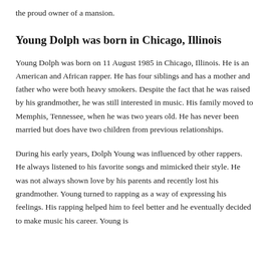the proud owner of a mansion.
Young Dolph was born in Chicago, Illinois
Young Dolph was born on 11 August 1985 in Chicago, Illinois. He is an American and African rapper. He has four siblings and has a mother and father who were both heavy smokers. Despite the fact that he was raised by his grandmother, he was still interested in music. His family moved to Memphis, Tennessee, when he was two years old. He has never been married but does have two children from previous relationships.
During his early years, Dolph Young was influenced by other rappers. He always listened to his favorite songs and mimicked their style. He was not always shown love by his parents and recently lost his grandmother. Young turned to rapping as a way of expressing his feelings. His rapping helped him to feel better and he eventually decided to make music his career. Young is